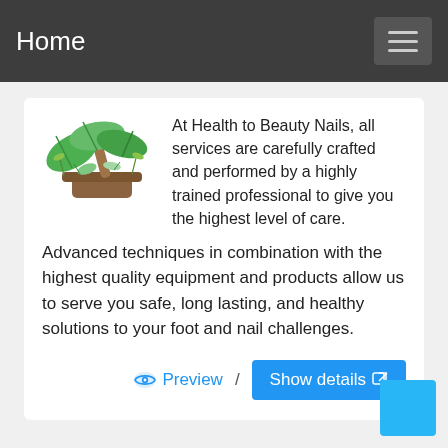Home
[Figure (illustration): Herb and leaves illustration with mortar and pestle, green leaves]
At Health to Beauty Nails, all services are carefully crafted and performed by a highly trained professional to give you the highest level of care. Advanced techniques in combination with the highest quality equipment and products allow us to serve you safe, long lasting, and healthy solutions to your foot and nail challenges.
👁 Preview / Show details ↗